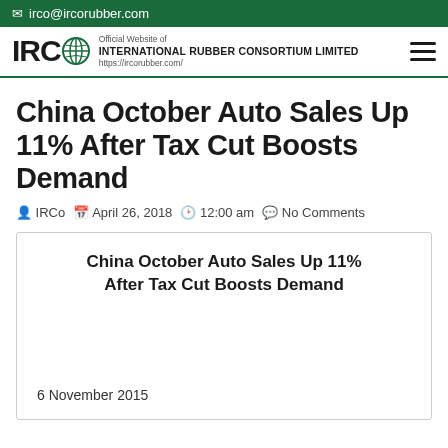irco@ircorubber.com
IRC Official Website of INTERNATIONAL RUBBER CONSORTIUM LIMITED https://ircorubber.com/
China October Auto Sales Up 11% After Tax Cut Boosts Demand
IRCo  April 26, 2018  12:00 am  No Comments
China October Auto Sales Up 11% After Tax Cut Boosts Demand
6 November 2015